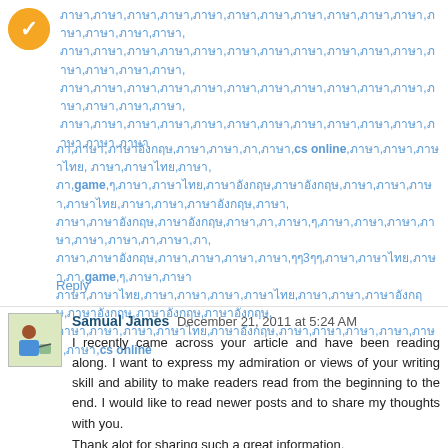ภาษา,ภาษา,ภาษา,ภาษา,ภาษา,ภาษา,ภาษา,ภาษา,ภาษา,ภาษา,ภาษา,ภาษา,ภาษา,ภาษา,ภาษา,ภาษา,ภาษา,ภาษา,ภาษา,ภาษา,ภาษา,ภาษา,ภาษา,ภาษา,ภาษา,ภาษา,ภาษา,ภาษา,ภาษา,ภาษา,ภาษา,ภาษา,ภาษา,ภาษา,ภาษา,ภาษา,ภาษา,ภาษา,ภาษา,ภาษา,ภาษา,ภาษา,ภาษา,ภาษา,ภาษา,ภาษา,ภาษา,ภาษา,ภาษา,ภาษา,ภาษา,ภาษา,ภาษา,ภาษา,ภาษา,ภาษา,ภาษา,ภาษา,ภาษา,ภาษา,ภาษา,ภาษา,ภาษา,ภาษา,ภาษา,ภาษา,ภาษา,ภาษา,ภาษา
ภาษา,ภาษาไทย,ภาษาอังกฤษ,ภาษา,ภาษา,ภา,ภาษา,cs online,ภาษา,ภาษา,ภาษาไทย, ภาษา,ภาษาไทย,ภาษา,ภา,game,ๆ,ภาษา,ภาษาไทย,ภาษาอังกฤษ,ภาษา,ภาษา,ภาษา,ภาษาไทย,ภาษา,ภาษา,ภาษาไทย,ภาษา,ภาษา,ภาษา,ภาษา,ภาษา,ภาษา,ภา,ภาษา,ๆ,ภาษา,ภาษา,ภาษา,ภาษา,ภา,ภาษา,ภาษาไทย,ภาษา,ภาษา,ภาษา,ภาษา,ๆๆ3ๆๆ,ภาษา,ภาษาไทย,ภาษา,ภา,game,ๆ,ภาษา,ภาษาภาษา,ภาษาไทย,ภาษา,ภาษา,ภาษา,ภาษาไทย,ภาษา,ภาษา,ภาษาไทย,ภาษา,ภาษาอังกฤษ,ภาษาอังกฤษ,ภาษาอังกฤษ,ภาษาอังกฤษ,ภาษา,ภาษา,ภาษา,ภาษาไทย,ภาษาอังกฤษ,ภาษา,ภาษาอังกฤษ,ภาษา,ภาษา,ภาษา,cs online
Reply
Samual James December 21, 2011 at 5:24 AM
I recently came across your article and have been reading along. I want to express my admiration or views of your writing skill and ability to make readers read from the beginning to the end. I would like to read newer posts and to share my thoughts with you.
Thank alot for sharing such a great information.